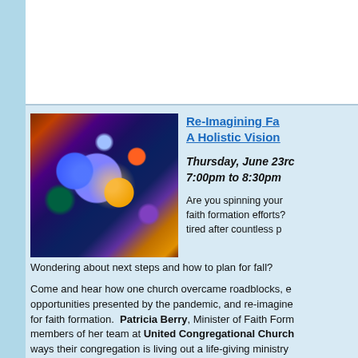[Figure (illustration): Colorful space/cosmos image with glowing orbs, nebulae, stars, and planetary circles in blues, purples, oranges, and greens]
Re-Imagining Fa... A Holistic Vision...
Thursday, June 23rd, 7:00pm to 8:30pm
Are you spinning your faith formation efforts? tired after countless p... Wondering about next steps and how to plan for fall?
Come and hear how one church overcame roadblocks, e... opportunities presented by the pandemic, and re-imagine... for faith formation. Patricia Berry, Minister of Faith Form... members of her team at United Congregational Church... ways their congregation is living out a life-giving ministry... grassroots process, shared power, and a theology of abu... workshop will discuss practical tools such as deep listenin... and passions in the congregation, and alternative metrics... insights for building intergenerational relationships and re...